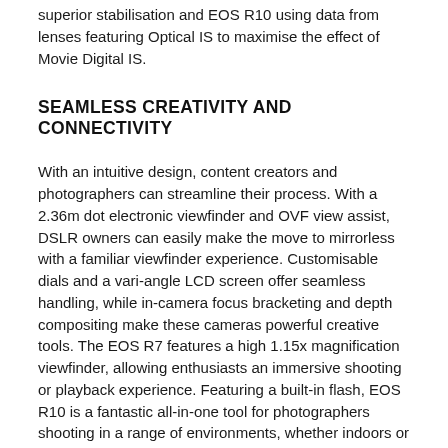superior stabilisation and EOS R10 using data from lenses featuring Optical IS to maximise the effect of Movie Digital IS.
SEAMLESS CREATIVITY AND CONNECTIVITY
With an intuitive design, content creators and photographers can streamline their process. With a 2.36m dot electronic viewfinder and OVF view assist, DSLR owners can easily make the move to mirrorless with a familiar viewfinder experience. Customisable dials and a vari-angle LCD screen offer seamless handling, while in-camera focus bracketing and depth compositing make these cameras powerful creative tools. The EOS R7 features a high 1.15x magnification viewfinder, allowing enthusiasts an immersive shooting or playback experience. Featuring a built-in flash, EOS R10 is a fantastic all-in-one tool for photographers shooting in a range of environments, whether indoors or dimly lit spaces. With Dual SD UHS-II card slots, the EOS R7 also supports instant back-up, separate image and movie storage or recording different formats to each